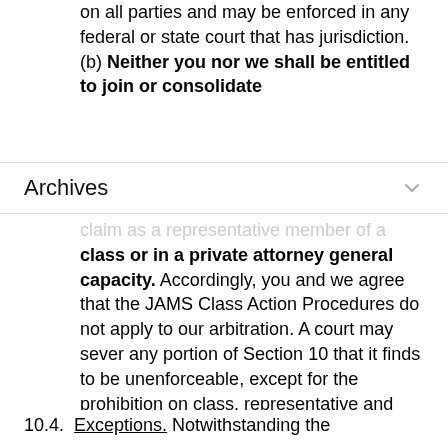on all parties and may be enforced in any federal or state court that has jurisdiction. (b) Neither you nor we shall be entitled to join or consolidate
Archives
claim as a representative member of a class or in a private attorney general capacity. Accordingly, you and we agree that the JAMS Class Action Procedures do not apply to our arbitration. A court may sever any portion of Section 10 that it finds to be unenforceable, except for the prohibition on class, representative and private attorney general arbitration.
10.4.  Exceptions. Notwithstanding the